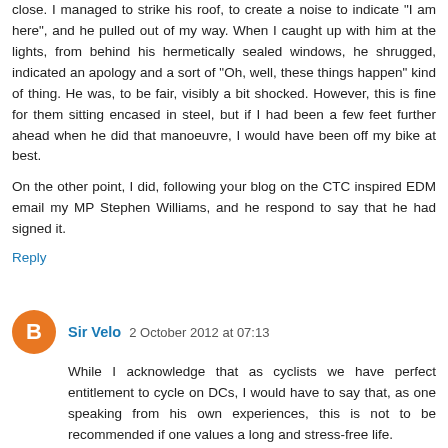close. I managed to strike his roof, to create a noise to indicate "I am here", and he pulled out of my way. When I caught up with him at the lights, from behind his hermetically sealed windows, he shrugged, indicated an apology and a sort of "Oh, well, these things happen" kind of thing. He was, to be fair, visibly a bit shocked. However, this is fine for them sitting encased in steel, but if I had been a few feet further ahead when he did that manoeuvre, I would have been off my bike at best.
On the other point, I did, following your blog on the CTC inspired EDM email my MP Stephen Williams, and he respond to say that he had signed it.
Reply
Sir Velo  2 October 2012 at 07:13
While I acknowledge that as cyclists we have perfect entitlement to cycle on DCs, I would have to say that, as one speaking from his own experiences, this is not to be recommended if one values a long and stress-free life.